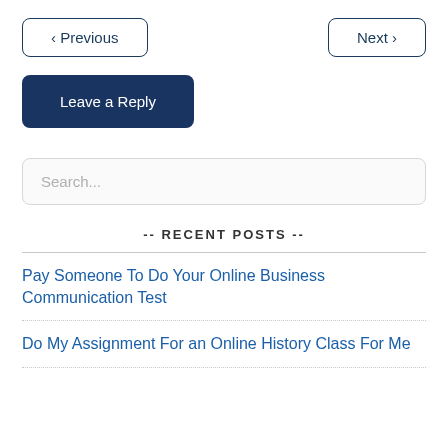< Previous
Next >
Leave a Reply
Search...
-- RECENT POSTS --
Pay Someone To Do Your Online Business Communication Test
Do My Assignment For an Online History Class For Me